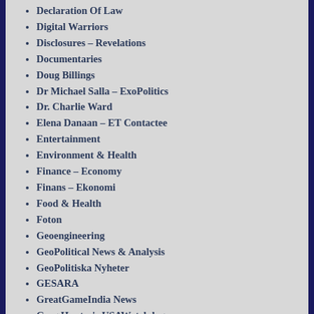Declaration Of Law
Digital Warriors
Disclosures – Revelations
Documentaries
Doug Billings
Dr Michael Salla – ExoPolitics
Dr. Charlie Ward
Elena Danaan – ET Contactee
Entertainment
Environment & Health
Finance – Economy
Finans – Ekonomi
Food & Health
Foton
Geoengineering
GeoPolitical News & Analysis
GeoPolitiska Nyheter
GESARA
GreatGameIndia News
Greg Hunter's USAWatchdog
Hälsa
Health
Health Impact News
Health Ranger Report
Helicopters